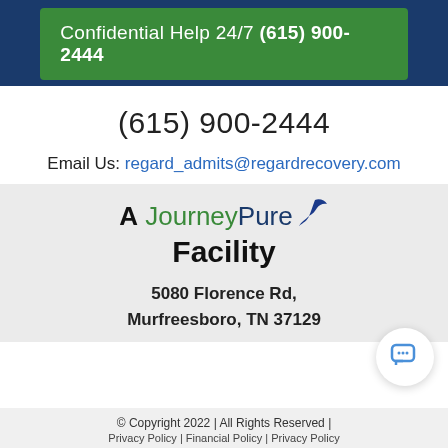Confidential Help 24/7 (615) 900-2444
(615) 900-2444
Email Us: regard_admits@regardrecovery.com
[Figure (logo): A JourneyPure Facility logo with stylized bird]
5080 Florence Rd, Murfreesboro, TN 37129
© Copyright 2022 | All Rights Reserved |